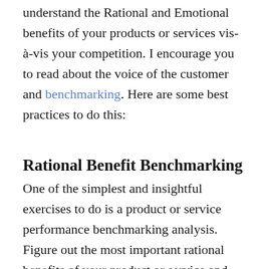understand the Rational and Emotional benefits of your products or services vis-à-vis your competition. I encourage you to read about the voice of the customer and benchmarking. Here are some best practices to do this:
Rational Benefit Benchmarking
One of the simplest and insightful exercises to do is a product or service performance benchmarking analysis. Figure out the most important rational benefits of your product or service and what features or performance measurements are important to those rational benefits. Figure out 2-3